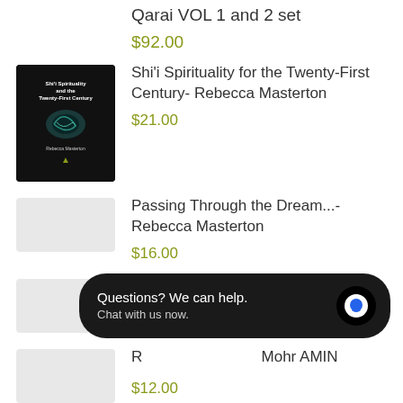Qarai VOL 1 and 2 set
$92.00
[Figure (photo): Book cover for Shi'i Spirituality for the Twenty-First Century by Rebecca Masterton, dark background with teal prayer beads image]
Shi'i Spirituality for the Twenty-First Century- Rebecca Masterton
$21.00
Passing Through the Dream...- Rebecca Masterton
$16.00
Welfare Aid International
$10.00
R... Mohr AMIN
$12.00
[Figure (screenshot): Chat widget overlay with text 'Questions? We can help. Chat with us now.' and a blue chat icon on dark background]